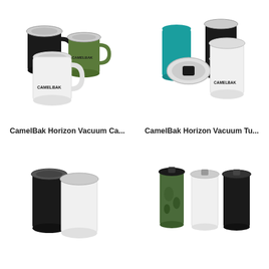[Figure (photo): CamelBak Horizon Vacuum Camp Mugs in black, white, and green colors with handles and clear lids]
[Figure (photo): CamelBak Horizon Vacuum Tumblers in teal, white, and black colors with clear lids]
CamelBak Horizon Vacuum Ca...
CamelBak Horizon Vacuum Tu...
[Figure (photo): CamelBak vacuum insulated tumblers in black and white]
[Figure (photo): CamelBak travel mugs in camo green, white, and black with flip lids]